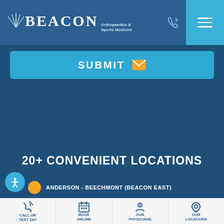[Figure (logo): Beacon Orthopaedics & Sports Medicine logo with lines/wings graphic, white text on dark blue background]
[Figure (screenshot): Submit button with envelope icon on light blue background]
20+ CONVENIENT LOCATIONS
ANDERSON - BEECHMONT (BEACON EAST)
CALL OR TEXT 24/7
BOOK ONLINE
OUR PHYSICIANS
OUR LOCATIONS